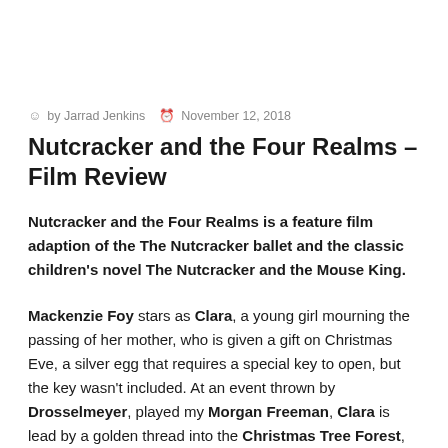by Jarrad Jenkins   November 12, 2018
Nutcracker and the Four Realms – Film Review
Nutcracker and the Four Realms is a feature film adaption of the The Nutcracker ballet and the classic children's novel The Nutcracker and the Mouse King.
Mackenzie Foy stars as Clara, a young girl mourning the passing of her mother, who is given a gift on Christmas Eve, a silver egg that requires a special key to open, but the key wasn't included. At an event thrown by Drosselmeyer, played my Morgan Freeman, Clara is lead by a golden thread into the Christmas Tree Forest, where